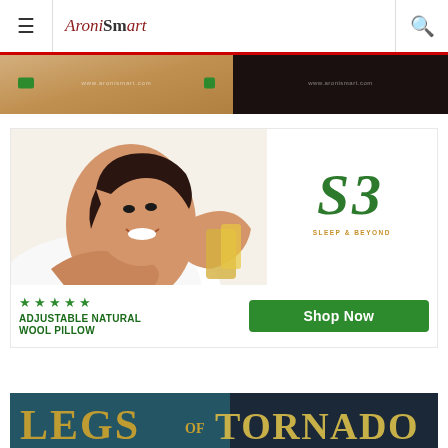AroniSmart
[Figure (screenshot): Partially visible banner advertisement with two panels - left shows a warm-toned image with green buttons and URL text, right shows a dark panel with URL text]
[Figure (illustration): Sleep & Beyond advertisement showing a smiling woman lying on a pillow, with the Sleep & Beyond logo (SB), five green stars, 'ADJUSTABLE NATURAL WOOL PILLOW' text, and a green 'Shop Now' button]
[Figure (screenshot): Partially visible 'Legs of Tornado' banner with stylized gold and teal text on dark background]